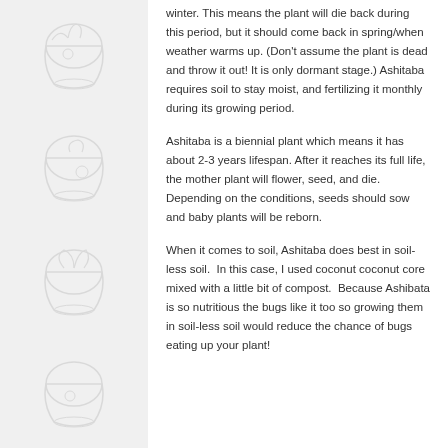winter. This means the plant will die back during this period, but it should come back in spring/when weather warms up. (Don't assume the plant is dead and throw it out! It is only dormant stage.) Ashitaba requires soil to stay moist, and fertilizing it monthly during its growing period.
Ashitaba is a biennial plant which means it has about 2-3 years lifespan. After it reaches its full life, the mother plant will flower, seed, and die. Depending on the conditions, seeds should sow and baby plants will be reborn.
When it comes to soil, Ashitaba does best in soil-less soil.  In this case, I used coconut coconut core mixed with a little bit of compost.  Because Ashibata is so nutritious the bugs like it too so growing them in soil-less soil would reduce the chance of bugs eating up your plant!
[Figure (illustration): Decorative plant pot illustrations arranged in a grid pattern on the left and right margins of the page background]